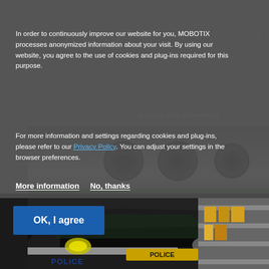[Figure (screenshot): MOBOTIX website screenshot showing cookie consent overlay. Background shows camera hardware image and a police vehicle image. The overlay contains cookie consent text and buttons.]
In order to continuously improve our website for you, MOBOTIX processes anonymized information about your visit. By using our website, you agree to the use of cookies and plug-ins required for this purpose.
For more information and settings regarding cookies and plug-ins, please refer to our Privacy Policy. You can adjust your settings in the browser preferences.
More information
No, thanks
OK, I agree